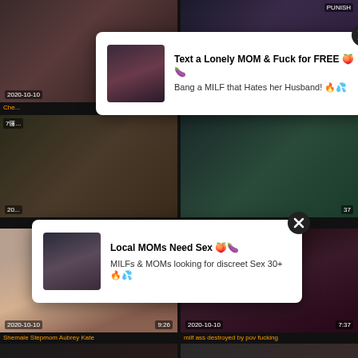[Figure (screenshot): Adult video website screenshot showing a grid of video thumbnails with two advertising popups overlaid. Top row shows partial video thumbnails. Middle section shows two popup ads with close buttons. Bottom section shows two video thumbnails labeled 'Shemale Stepmom Aubrey Kate' (2020-10-10, 9:26) and 'milf ass destroyed by pov fucking' (2020-10-10, 7:37). Bottom row shows partial thumbnails.]
Text a Lonely MOM & Fuck for FREE 🍑🍆
Bang a MILF that Hates her Husband! 🔥💦
Local MOMs Need Sex 🍑🍆
MILFs & MOMs looking for discreet Sex 30+ 🔥💦